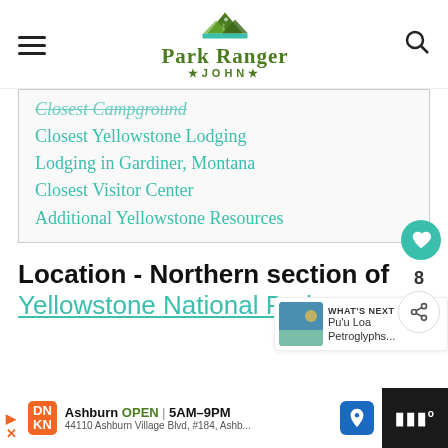Park Ranger JOHN
Closest Campground
Closest Yellowstone Lodging
Lodging in Gardiner, Montana
Closest Visitor Center
Additional Yellowstone Resources
Location - Northern section of Yellowstone National Park
WHAT'S NEXT → Pu'u Loa Petroglyphs...
Ashburn OPEN | 5AM–9PM  44110 Ashburn Village Blvd, #184, Ashburn